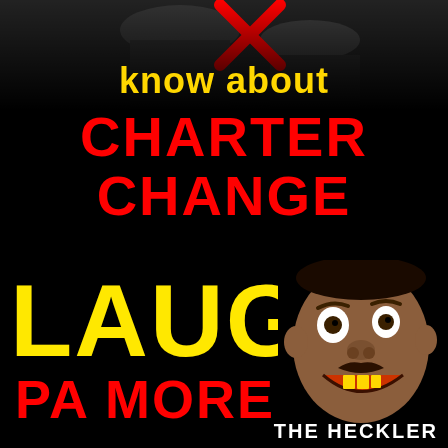[Figure (photo): Dark grayscale photo of a person at the top of the page, partially visible, with a red X mark overlay]
know about
CHARTER CHANGE
LAUGH
PA MORE!
[Figure (photo): Close-up photo of a laughing man with wide eyes and gold teeth against black background]
THE HECKLER